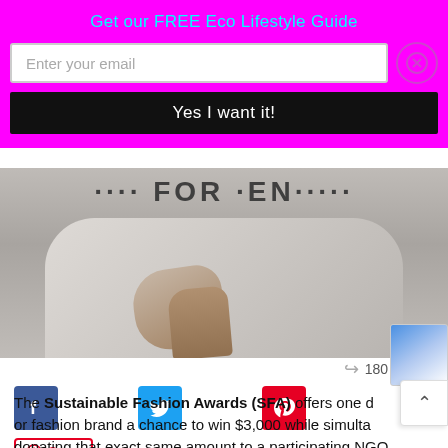Get our FREE Eco Lifestyle Guide
Enter your email
Yes I want it!
[Figure (photo): Person in light-colored clothing sitting, with partial text overlay reading a fashion-related headline]
180 shares
[Figure (infographic): Social share buttons: Facebook (blue), Twitter (blue), Pinterest (red), and a share icon]
Save
The Sustainable Fashion Awards (SFA) offers one designer or fashion brand a chance to win $3,000 while simultaneously donating that exact same amount to a participating NGO